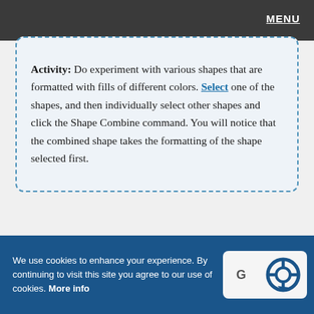MENU
Activity: Do experiment with various shapes that are formatted with fills of different colors. Select one of the shapes, and then individually select other shapes and click the Shape Combine command. You will notice that the combined shape takes the formatting of the shape selected first.
We use cookies to enhance your experience. By continuing to visit this site you agree to our use of cookies. More info